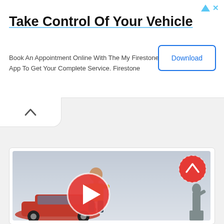[Figure (screenshot): Advertisement banner for Firestone app with title, subtitle, and Download button]
Take Control Of Your Vehicle
Book An Appointment Online With The My Firestone® App To Get Your Complete Service. Firestone
[Figure (screenshot): Collapse/chevron-up button below the ad banner]
[Figure (photo): Video thumbnail showing a man standing near a red car with a play button overlay, a statue silhouette in the background, and a red scroll-up button]